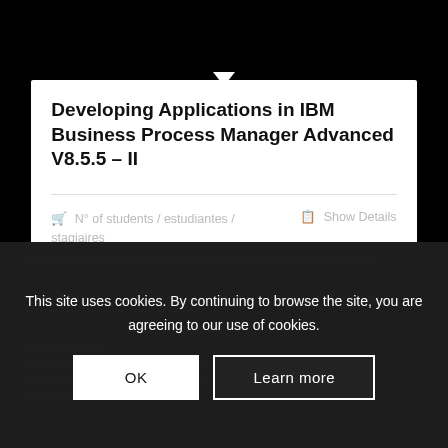Developing Applications in IBM Business Process Manager Advanced V8.5.5 – II
Nº of students / estudiantes / stagiaires
Show Details
This site uses cookies. By continuing to browse the site, you are agreeing to our use of cookies.
OK
Learn more